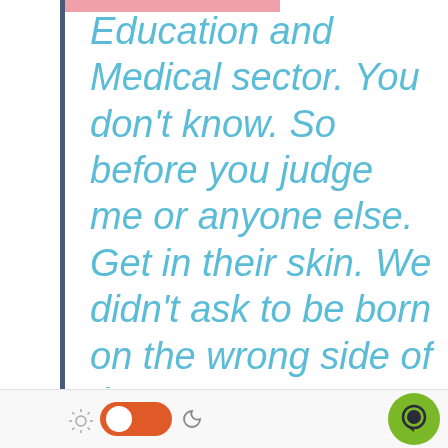Education and Medical sector. You don't know. So before you judge me or anyone else. Get in their skin. We didn't ask to be born on the wrong side of the